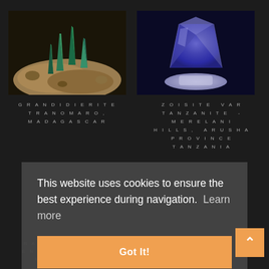[Figure (photo): Grandidierite mineral crystals on sandy matrix, dark background, green-blue crystal spikes]
[Figure (photo): Zoisite var Tanzanite blue crystal on white base, dark background]
GRANDIDIERITE TRANOMARO, MADAGASCAR
ZOISITE VAR TANZANITE - MERELANI HILLS, ARUSHA PROVINCE TANZANIA
300.00€
250.00€
This website uses cookies to ensure the best experience during navigation.  Learn more
Got It!
RARE CRISTAL ENDLICHITE // MISLADEN,
GRANDIDIERITE TRANOMARO, MADAGASCAR